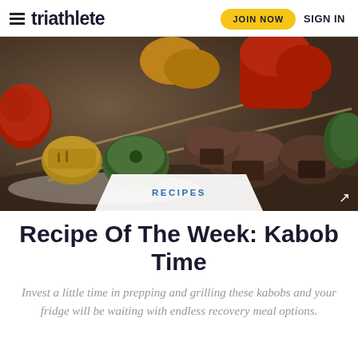triathlete | JOIN NOW | SIGN IN
[Figure (photo): Close-up photo of grilled vegetable kabobs on skewers, featuring colorful bell peppers, zucchini, mushrooms, and squash]
RECIPES
Recipe Of The Week: Kabob Time
Invest a little time in prepping and grilling these kabobs and your fridge will be waiting with endless recovery meal options.